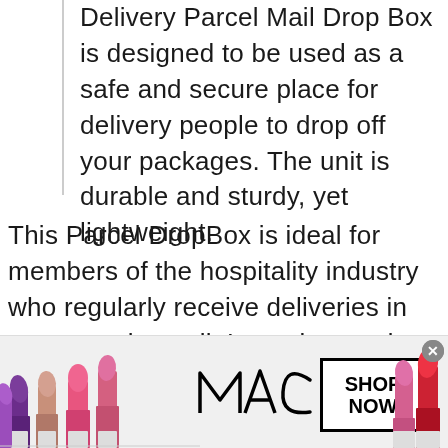Delivery Parcel Mail Drop Box is designed to be used as a safe and secure place for delivery people to drop off your packages. The unit is durable and sturdy, yet lightweight.
This Parcel DropBox is ideal for members of the hospitality industry who regularly receive deliveries in person or by mail. It can be used to accept parcel deliveries, package
[Figure (photo): MAC cosmetics advertisement banner showing multiple lipsticks in purple, pink, and red colors on the left and right sides, MAC logo in italic script in the center, and a 'SHOP NOW' button in a black-bordered box. A circular close button appears in the top-right corner.]